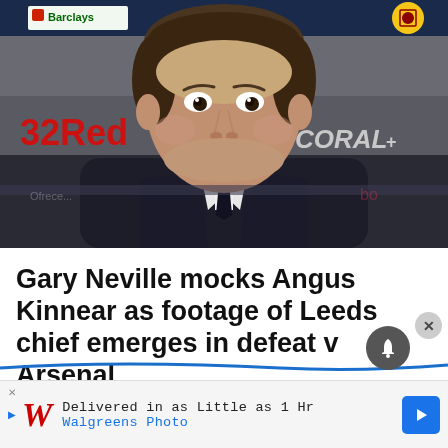[Figure (photo): Man speaking at a press conference with 32Red and Coral sponsor banners visible in background]
Gary Neville mocks Angus Kinnear as footage of Leeds chief emerges in defeat v Arsenal
Delivered in as Little as 1 Hr Walgreens Photo